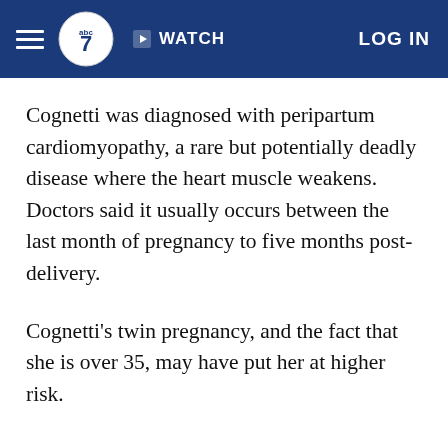ABC7 Navigation bar with hamburger menu, logo, WATCH button, and LOG IN
Cognetti was diagnosed with peripartum cardiomyopathy, a rare but potentially deadly disease where the heart muscle weakens. Doctors said it usually occurs between the last month of pregnancy to five months post-delivery.
Cognetti's twin pregnancy, and the fact that she is over 35, may have put her at higher risk.